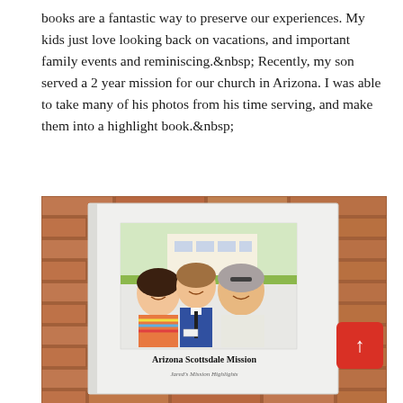books are a fantastic way to preserve our experiences. My kids just love looking back on vacations, and important family events and reminiscing.  Recently, my son served a 2 year mission for our church in Arizona. I was able to take many of his photos from his time serving, and make them into a highlight book.
[Figure (photo): A white hardcover photo book titled 'Arizona Scottsdale Mission' with subtitle 'Jared's Mission Highlights', propped against a brick wall. The book cover shows a selfie photo of three people smiling outdoors — a young woman in a colorful striped top, a young man in a blue suit with a missionary name tag, and an older man in a light shirt.]